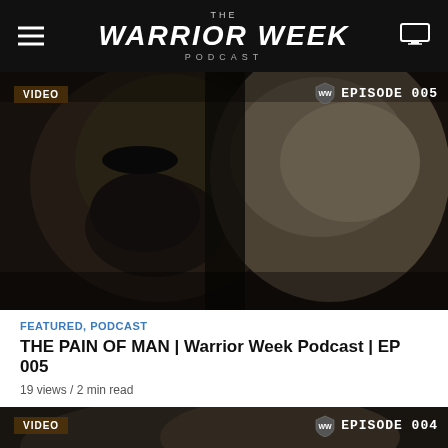THE WARRIOR WEEK PODCAST
[Figure (screenshot): Two men facing each other very closely, black and white dramatic photo. VIDEO badge top-left, Episode 005 shield badge top-right.]
FEATURED, PODCAST
THE PAIN OF MAN | Warrior Week Podcast | EP 005
19 views / 2 min read
[Figure (screenshot): Partial thumbnail of next episode. VIDEO badge top-left, Episode 004 shield badge top-right.]